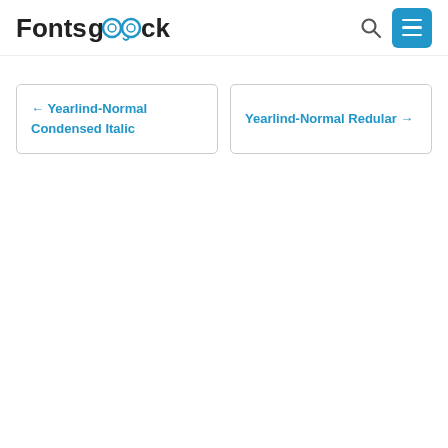Fonts Geek
← Yearlind-Normal Condensed Italic
Yearlind-Normal Redular →